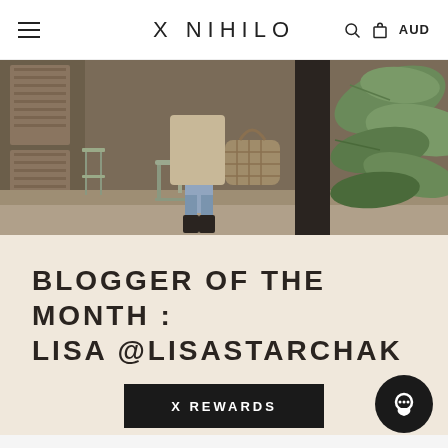X NIHILO   AUD
[Figure (photo): Fashion blogger sitting on metal stools outdoors, wearing blue jeans, black boots, a light coat, and carrying a quilted olive/tan handbag. Background shows wooden shutters, garden chairs, and large tropical plants.]
BLOGGER OF THE MONTH : LISA @LISASTARCHAK
[Figure (other): X REWARDS button - dark rectangular button with white text reading 'X REWARDS' with letter-spacing]